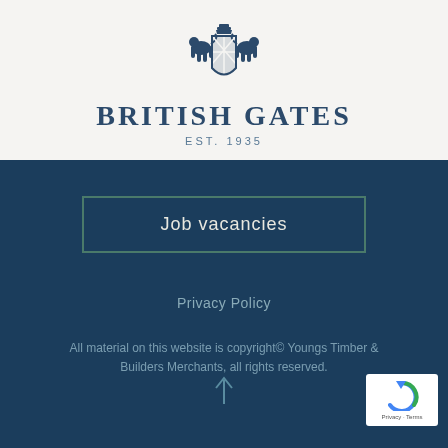[Figure (logo): British Gates heraldic crest with two lions flanking a shield with crown on top, in dark blue/navy color]
BRITISH GATES
EST. 1935
Job vacancies
Privacy Policy
All material on this website is copyright© Youngs Timber & Builders Merchants, all rights reserved.
[Figure (logo): reCAPTCHA badge with circular arrow logo and Privacy - Terms text]